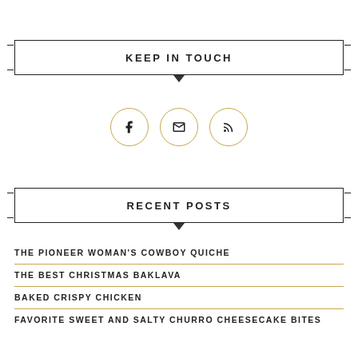KEEP IN TOUCH
[Figure (infographic): Three social media icon circles (Facebook, Email, RSS) with gold/yellow borders]
RECENT POSTS
THE PIONEER WOMAN'S COWBOY QUICHE
THE BEST CHRISTMAS BAKLAVA
BAKED CRISPY CHICKEN
FAVORITE SWEET AND SALTY CHURRO CHEESECAKE BITES